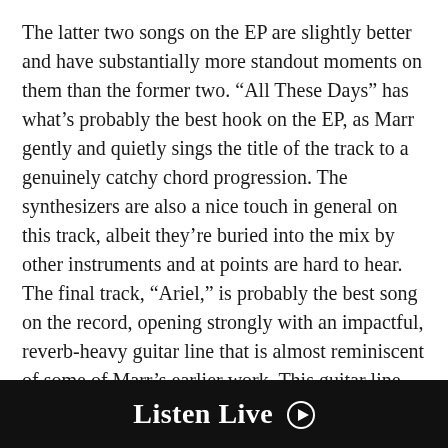The latter two songs on the EP are slightly better and have substantially more standout moments on them than the former two. “All These Days” has what’s probably the best hook on the EP, as Marr gently and quietly sings the title of the track to a genuinely catchy chord progression. The synthesizers are also a nice touch in general on this track, albeit they’re buried into the mix by other instruments and at points are hard to hear. The final track, “Ariel,” is probably the best song on the record, opening strongly with an impactful, reverb-heavy guitar line that is almost reminiscent of some of Marr’s earlier work. This guitar line returns on the chorus, along with an emotionally-driven vocal melody. The lyrics also seem the most well thought-out of what’s been presented on the record. While the synths are somewhat unnecessary during the verse and the song would probably be better without them, they don’t
Listen Live ►